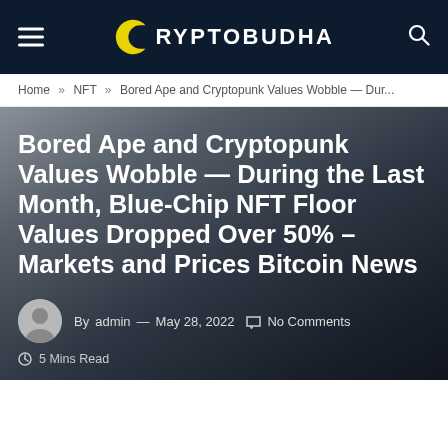CRYPTOBUDHA
Home » NFT » Bored Ape and Cryptopunk Values Wobble — Dur...
Bored Ape and Cryptopunk Values Wobble — During the Last Month, Blue-Chip NFT Floor Values Dropped Over 50% – Markets and Prices Bitcoin News
By admin — May 28, 2022  No Comments
5 Mins Read